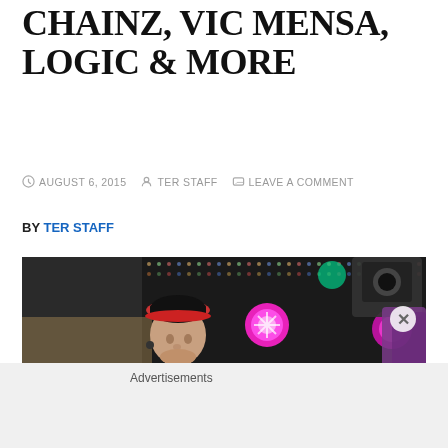CHAINZ, VIC MENSA, LOGIC & MORE
AUGUST 6, 2015  TER STAFF  LEAVE A COMMENT
BY TER STAFF
[Figure (photo): Concert photo of a rapper (Logic) performing on stage with a black and red cap and blue t-shirt, in front of a LED light panel backdrop with colorful stage lights including pink/magenta lights]
Advertisements